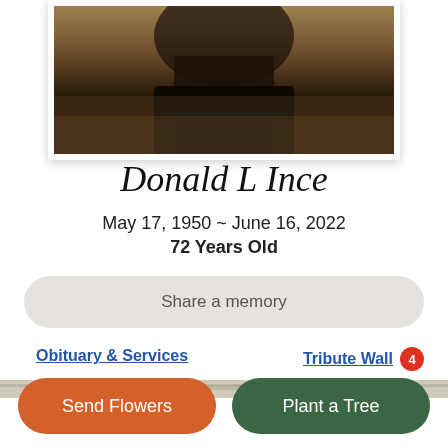[Figure (photo): Partial photo of a person, cropped showing lower body, sepia/dark toned, in a framed presentation with white border and cream mat]
Donald L Ince
May 17, 1950 ~ June 16, 2022
72 Years Old
Share a memory
Obituary & Services
Tribute Wall 4
Send Flowers
Plant a Tree